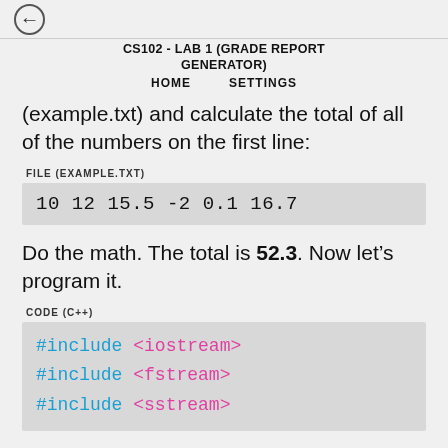← CS102 - LAB 1 (GRADE REPORT GENERATOR)
HOME   SETTINGS
(example.txt) and calculate the total of all of the numbers on the first line:
FILE (EXAMPLE.TXT)
| 10  12  15.5  -2  0.1  16.7 |
Do the math. The total is 52.3. Now let's program it.
CODE (C++)
[Figure (screenshot): C++ code snippet showing #include <iostream>, #include <fstream>, #include <sstream>]